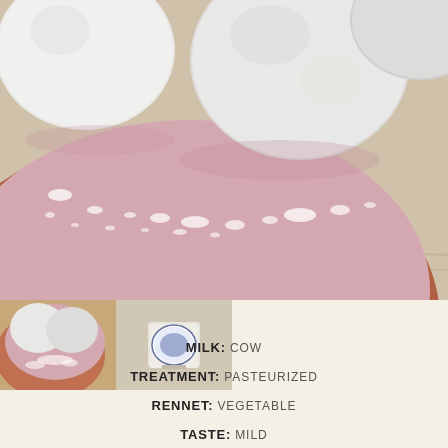[Figure (photo): Close-up photo of white mozzarella balls on a pink/mauve plate with water droplets, sitting on a wooden surface. The plate has a terracotta-colored rim visible at the bottom.]
[Figure (photo): Small thumbnail image showing white cheese balls on a pink plate (same as main photo).]
[Figure (photo): Small thumbnail image showing a small container/cup with a label, appearing to be a branded cheese product.]
MILK: COW
TREATMENT: PASTEURIZED
RENNET: VEGETABLE
TASTE: MILD